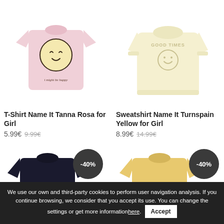[Figure (photo): Pink T-shirt with smiling sun face graphic and 'i might be happy' text, for girl]
[Figure (photo): Cream/yellow sweatshirt with 'GOOD TIMES' text and smiley face, for girl]
T-Shirt Name It Tanna Rosa for Girl
5.99€ 9.99€
Sweatshirt Name It Turnspain Yellow for Girl
8.99€ 14.99€
[Figure (photo): Dark navy blue children's top, partially visible, with -40% discount badge]
[Figure (photo): Yellow/mustard children's top, partially visible, with -40% discount badge]
We use our own and third-party cookies to perform user navigation analysis. If you continue browsing, we consider that you accept its use. You can change the settings or get more information here. Accept